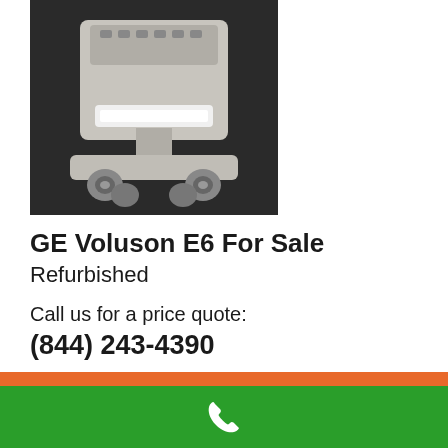[Figure (photo): Photo of GE Voluson E6 ultrasound machine, showing the base and bottom portion of the device with wheels, on a dark background]
GE Voluson E6 For Sale
Refurbished
Call us for a price quote:
(844) 243-4390
100% Guarantee
FDA Registered Company
Over 7k customers